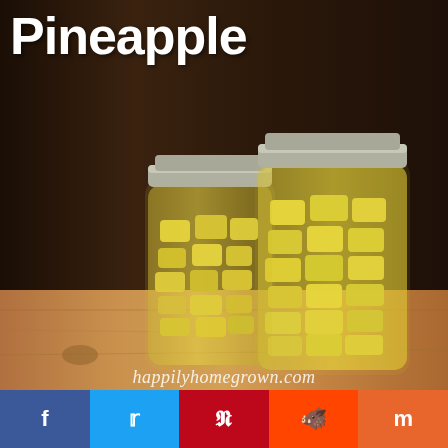[Figure (photo): Two glass mason jars filled with canned pineapple chunks in juice, with silver lids, sitting on a wooden surface against a dark wood background.]
Pineapple
happilyhomegrown.com
[Figure (infographic): Social media share buttons: Facebook (blue), Twitter (light blue), Pinterest (red), Reddit (orange-red), Mix (orange)]